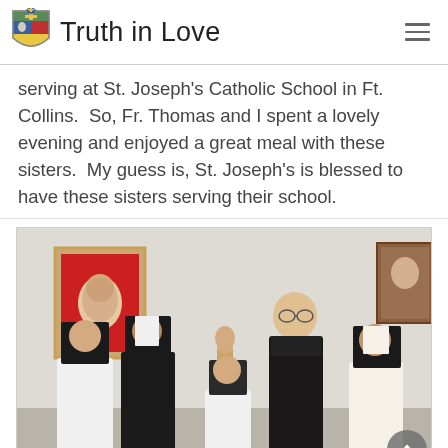Truth in Love
serving at St. Joseph's Catholic School in Ft. Collins.  So, Fr. Thomas and I spent a lovely evening and enjoyed a great meal with these sisters.  My guess is, St. Joseph's is blessed to have these sisters serving their school.
[Figure (photo): Group photo of four religious sisters in habits and one tall man in black clothing standing together in a room with a religious painting and a statue of Mary in the background.]